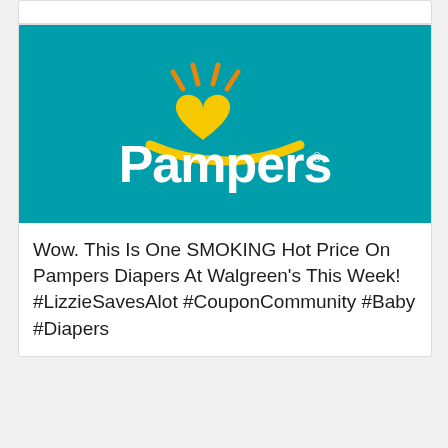[Figure (logo): Pampers brand logo on teal/dark-cyan background. White rounded 'Pampers.' wordmark with yellow heart design above and orange accent lines radiating from the heart.]
Wow. This Is One SMOKING Hot Price On Pampers Diapers At Walgreen's This Week! #LizzieSavesAlot #CouponCommunity #Baby #Diapers